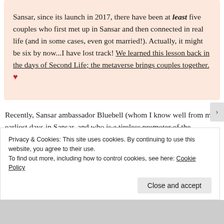Sansar, since its launch in 2017, there have been at least five couples who first met up in Sansar and then connected in real life (and in some cases, even got married!). Actually, it might be six by now...I have lost track! We learned this lesson back in the days of Second Life; the metaverse brings couples together. ❤
Recently, Sansar ambassador Bluebell (whom I know well from my earliest days in Sansar, and who is a tireless promoter of the platform) and her beau
Privacy & Cookies: This site uses cookies. By continuing to use this website, you agree to their use.
To find out more, including how to control cookies, see here: Cookie Policy